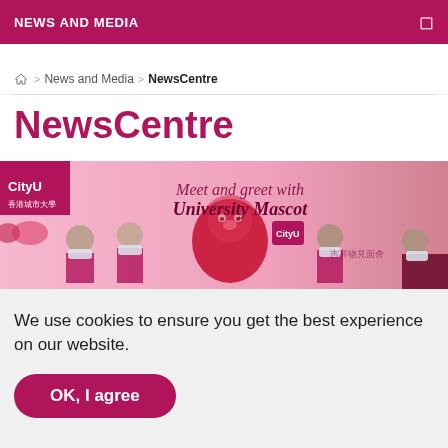NEWS AND MEDIA
Home > News and Media > NewsCentre
NewsCentre
[Figure (photo): Banner photo showing people in masks with a university mascot (red lion/tiger plush). Text overlay reads 'Meet and greet with University Mascot'. CityU logo visible on left.]
We use cookies to ensure you get the best experience on our website.
OK, I agree